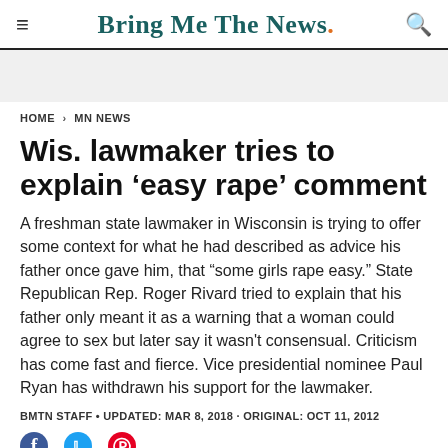Bring Me The News.
HOME > MN NEWS
Wis. lawmaker tries to explain ‘easy rape’ comment
A freshman state lawmaker in Wisconsin is trying to offer some context for what he had described as advice his father once gave him, that "some girls rape easy." State Republican Rep. Roger Rivard tried to explain that his father only meant it as a warning that a woman could agree to sex but later say it wasn't consensual. Criticism has come fast and fierce. Vice presidential nominee Paul Ryan has withdrawn his support for the lawmaker.
BMTN STAFF • UPDATED: MAR 8, 2018 · ORIGINAL: OCT 11, 2012
[Figure (other): Social media share icons: Facebook, Twitter, Pinterest]